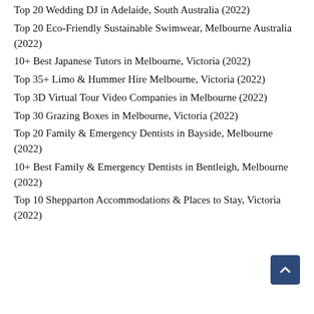Top 20 Wedding DJ in Adelaide, South Australia (2022)
Top 20 Eco-Friendly Sustainable Swimwear, Melbourne Australia (2022)
10+ Best Japanese Tutors in Melbourne, Victoria (2022)
Top 35+ Limo & Hummer Hire Melbourne, Victoria (2022)
Top 3D Virtual Tour Video Companies in Melbourne (2022)
Top 30 Grazing Boxes in Melbourne, Victoria (2022)
Top 20 Family & Emergency Dentists in Bayside, Melbourne (2022)
10+ Best Family & Emergency Dentists in Bentleigh, Melbourne (2022)
Top 10 Shepparton Accommodations & Places to Stay, Victoria (2022)